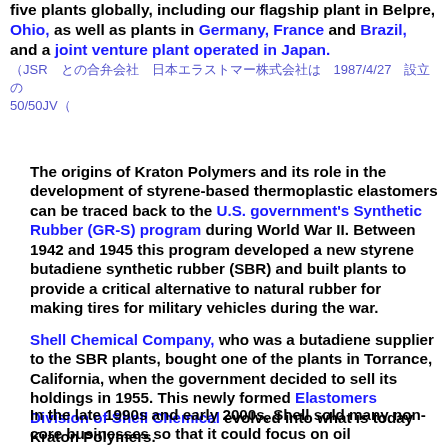five plants globally, including our flagship plant in Belpre, Ohio, as well as plants in Germany, France and Brazil, and a joint venture plant operated in Japan.
（JSR　との合弁会社　日本エラストマー株式会社は　1987/4/27　設立　50/50JV（
The origins of Kraton Polymers and its role in the development of styrene-based thermoplastic elastomers can be traced back to the U.S. government's Synthetic Rubber (GR-S) program during World War II. Between 1942 and 1945 this program developed a new styrene butadiene synthetic rubber (SBR) and built plants to provide a critical alternative to natural rubber for making tires for military vehicles during the war.
Shell Chemical Company, who was a butadiene supplier to the SBR plants, bought one of the plants in Torrance, California, when the government decided to sell its holdings in 1955. This newly formed Elastomers Division of Shell Chemical evolved into what is today Kraton Polymers.
In the late 1990s and early 2000s, Shell sold many non-core businesses so that it could focus on oil